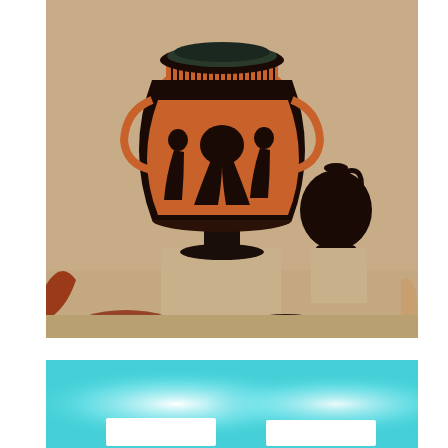[Figure (photo): Museum display photo showing ancient Greek red-figure and black-glaze pottery. The central piece is a large column krater with red-figure decoration depicting human figures on a black background, placed on a wooden pedestal. To the right is a smaller black-glaze oinochoe (jug) with a round body. Additional pottery fragments and vessels are visible at the edges. The background shows sandy/beige museum display shelving.]
[Figure (photo): Bottom portion of a museum display with a bright cyan/turquoise lit display case background. Two white label cards or placards are partially visible at the bottom of the frame against the bright background.]